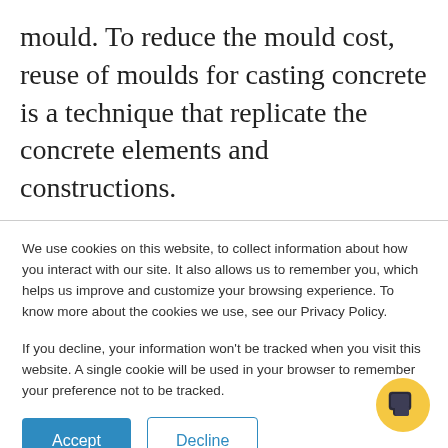mould. To reduce the mould cost, reuse of moulds for casting concrete is a technique that replicate the concrete elements and constructions.

Many constructions and buildings succeed in demonstrating the long-life durability of concrete, while only a few
We use cookies on this website, to collect information about how you interact with our site. It also allows us to remember you, which helps us improve and customize your browsing experience. To know more about the cookies we use, see our Privacy Policy.

If you decline, your information won't be tracked when you visit this website. A single cookie will be used in your browser to remember your preference not to be tracked.